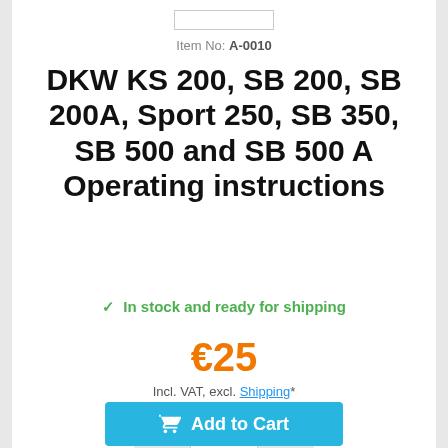Item No: A-0010
DKW KS 200, SB 200, SB 200A, Sport 250, SB 350, SB 500 and SB 500 A Operating instructions
✓ In stock and ready for shipping
€25
Incl. VAT, excl. Shipping*